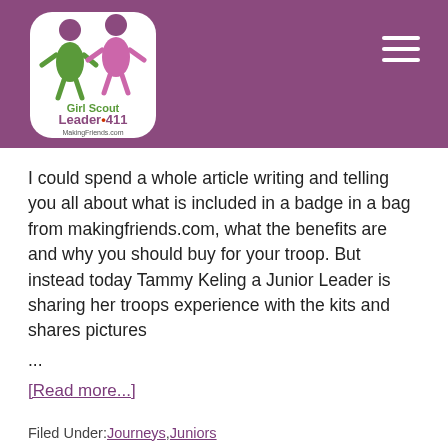[Figure (logo): Girl Scout Leader 411 MakingFriends.com logo with illustrated girl scout figures]
I could spend a whole article writing and telling you all about what is included in a badge in a bag from makingfriends.com, what the benefits are and why you should buy for your troop. But instead today Tammy Keling a Junior Leader is sharing her troops experience with the kits and shares pictures ...
[Read more...]
Filed Under: Journeys, Juniors
Tagged With: girl scout, journey, Journey books, junior, service projects